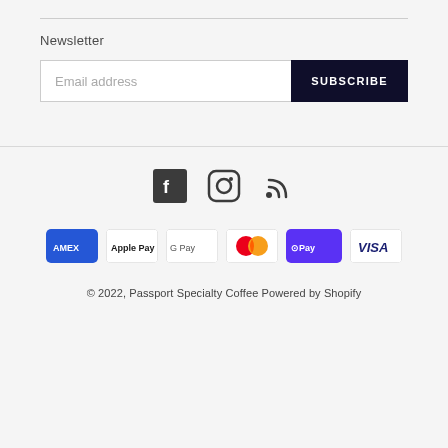Newsletter
Email address
SUBSCRIBE
[Figure (infographic): Social media icons: Facebook, Instagram, RSS feed]
[Figure (infographic): Payment method badges: American Express, Apple Pay, Google Pay, Mastercard, Shop Pay, Visa]
© 2022, Passport Specialty Coffee Powered by Shopify